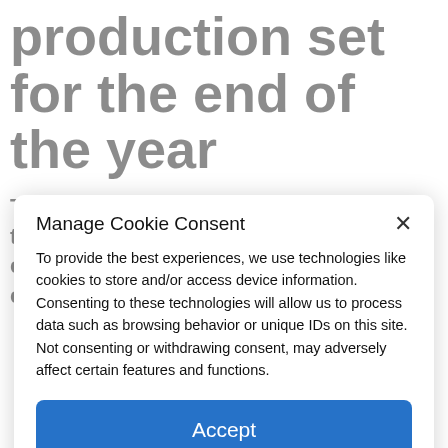production set for the end of the year
The two engines currently offered under the hood of the Japanese SUV have not changed. We always find the 218 hp self-charging hybrid, or 222 hp
Manage Cookie Consent
To provide the best experiences, we use technologies like cookies to store and/or access device information. Consenting to these technologies will allow us to process data such as browsing behavior or unique IDs on this site. Not consenting or withdrawing consent, may adversely affect certain features and functions.
Accept
Cookie Policy